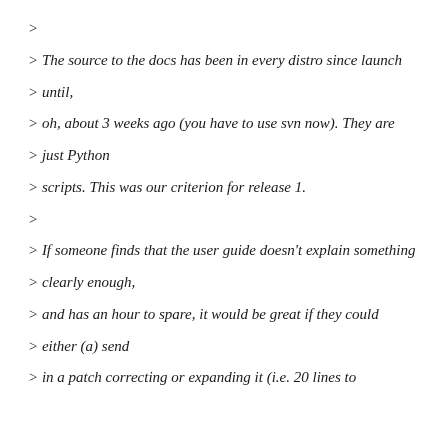>
> The source to the docs has been in every distro since launch
> until,
> oh, about 3 weeks ago (you have to use svn now). They are
> just Python
> scripts. This was our criterion for release 1.
>
> If someone finds that the user guide doesn't explain something
> clearly enough,
> and has an hour to spare, it would be great if they could
> either (a) send
> in a patch correcting or expanding it (i.e. 20 lines to